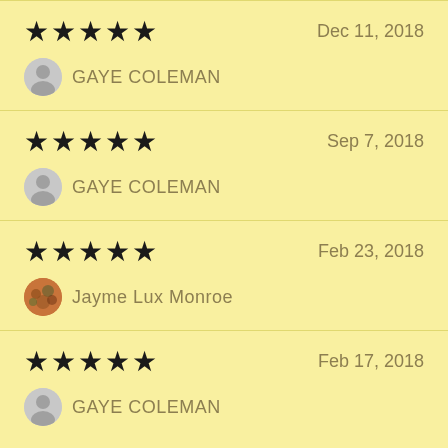★★★★★  Dec 11, 2018 — GAYE COLEMAN
★★★★★  Sep 7, 2018 — GAYE COLEMAN
★★★★★  Feb 23, 2018 — Jayme Lux Monroe
★★★★★  Feb 17, 2018 — GAYE COLEMAN